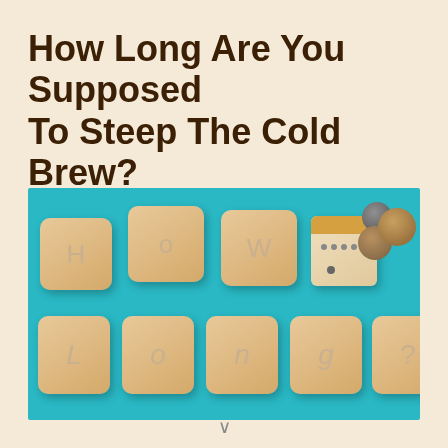How Long Are You Supposed To Steep The Cold Brew?
[Figure (photo): Wooden letter blocks spelling out 'HOW Long?' arranged in two rows on a teal/turquoise background, with a small house-shaped object and coins to the right of the top row.]